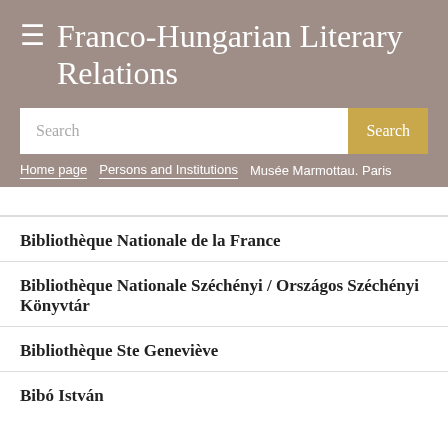Franco-Hungarian Literary Relations
[Figure (screenshot): Search bar with white input field and gold Search button]
Home page > Persons and Institutions > Musée Marmottau. Paris
(partial row above)
Bibliothèque Nationale de la France
Bibliothèque Nationale Széchényi / Országos Széchényi Könyvtár
Bibliothèque Ste Geneviève
Bibó István